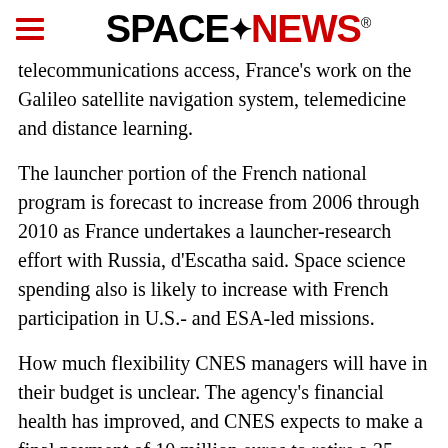SPACENEWS
telecommunications access, France's work on the Galileo satellite navigation system, telemedicine and distance learning.
The launcher portion of the French national program is forecast to increase from 2006 through 2010 as France undertakes a launcher-research effort with Russia, d'Escatha said. Space science spending also is likely to increase with French participation in U.S.- and ESA-led missions.
How much flexibility CNES managers will have in their budget is unclear. The agency's financial health has improved, and CNES expects to make a final payment of 10 million euros to retire a 35 million-euro debt that had built up over several years and has been repaid in